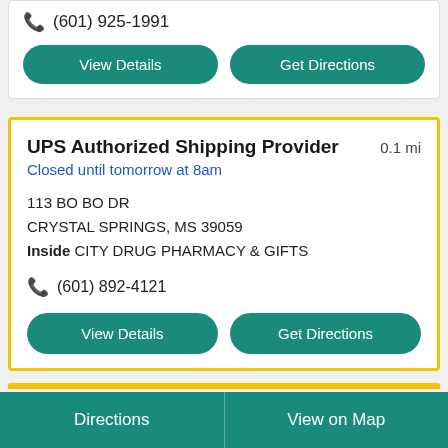(601) 925-1991
View Details
Get Directions
UPS Authorized Shipping Provider   0.1 mi
Closed until tomorrow at 8am
113 BO BO DR
CRYSTAL SPRINGS, MS 39059
Inside CITY DRUG PHARMACY & GIFTS
(601) 892-4121
View Details
Get Directions
Directions
View on Map